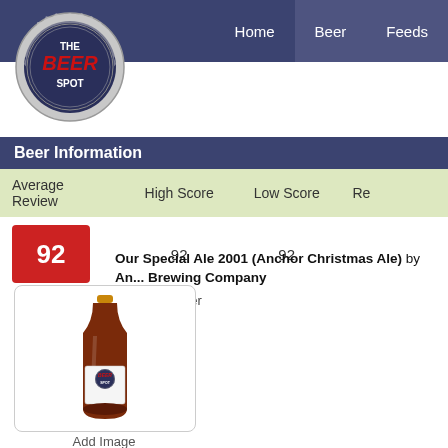Home  Beer  Feeds
[Figure (logo): The Beer Spot logo — a bottle cap with THE BEER SPOT text]
Beer Information
| Average Review | High Score | Low Score | Re... |
| --- | --- | --- | --- |
| 92 (badge) | 92 | 92 |  |
Our Special Ale 2001 (Anchor Christmas Ale) by Anchor Brewing Company
Winter Warmer
5.00 % ABV
[Figure (photo): Photo of a dark brown beer bottle with The Beer Spot label]
Add Image